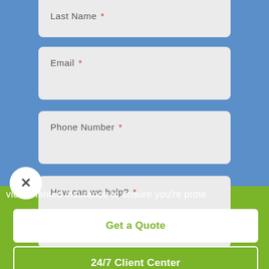Last Name *
Email *
Phone Number *
How can we help? *
vice-oriented insurance to ensure you're prote
Get a Quote
24/7 Client Center